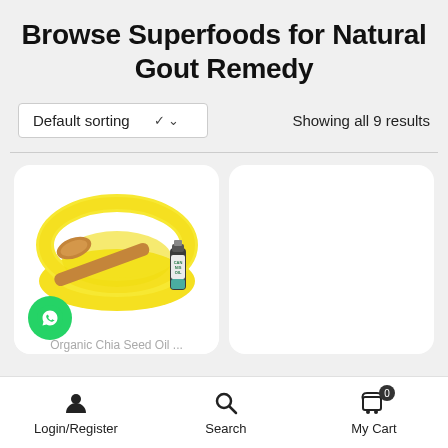Browse Superfoods for Natural Gout Remedy
Default sorting
Showing all 9 results
[Figure (photo): Product card showing a yellow bowl with a wooden spoon and a small bottle of CBD/cannabis oil on white background]
Login/Register   Search   My Cart